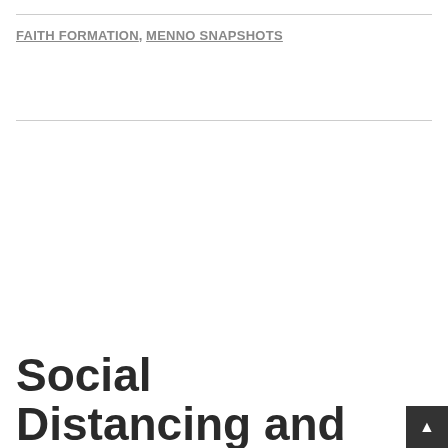FAITH FORMATION, MENNO SNAPSHOTS
Social Distancing and